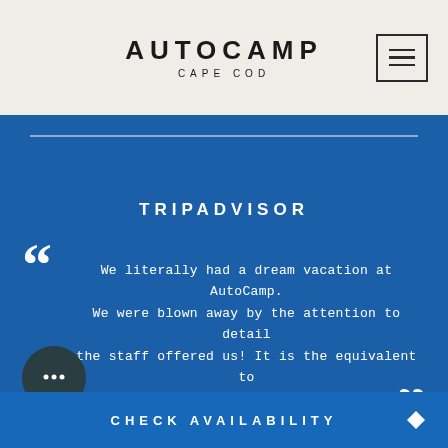AUTOCAMP
CAPE COD
TRIPADVISOR
We literally had a dream vacation at AutoCamp. We were blown away by the attention to detail the staff offered us! It is the equivalent to staying at the Four Seasons but in a fabulous air stream! Everything is absolutely spotless and the grounds are pristine.
CHECK AVAILABILITY